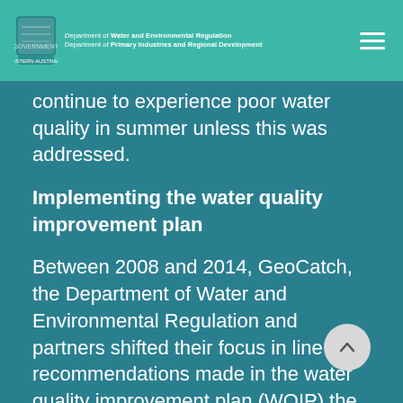Department of Water and Environmental Regulation
Department of Primary Industries and Regional Development
continue to experience poor water quality in summer unless this was addressed.
Implementing the water quality improvement plan
Between 2008 and 2014, GeoCatch, the Department of Water and Environmental Regulation and partners shifted their focus in line with recommendations made in the water quality improvement plan (WQIP) the Vasse Wonnerup wetlands and Geographe Bay. Work expanded to the